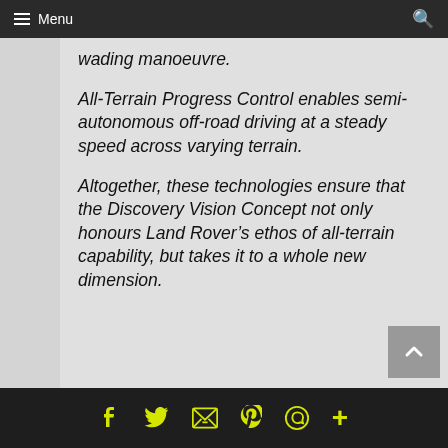≡ Menu
wading manoeuvre.
All-Terrain Progress Control enables semi-autonomous off-road driving at a steady speed across varying terrain.
Altogether, these technologies ensure that the Discovery Vision Concept not only honours Land Rover's ethos of all-terrain capability, but takes it to a whole new dimension.
f  🐦  ✉  ℗  ©  +